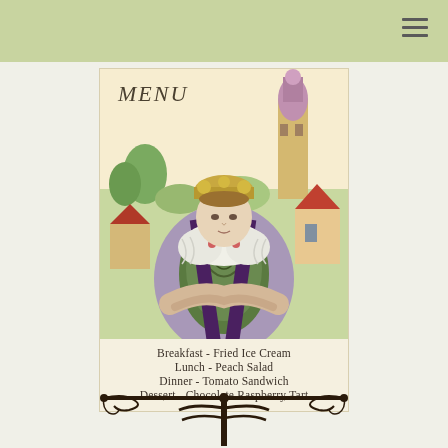[Figure (illustration): Vintage illustration of a Dutch/medieval woman in traditional costume with white ruff collar, green embroidered bodice, arms crossed, standing before a village scene with a tower.]
MENU
Breakfast - Fried Ice Cream
Lunch - Peach Salad
Dinner - Tomato Sandwich
Dessert - Chocolate Raspberry Tart
[Figure (illustration): Decorative ornamental divider featuring a stylized black tree or candelabra motif with scrollwork.]